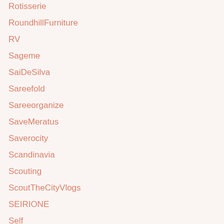Rotisserie
RoundhillFurniture
RV
Sageme
SaiDeSilva
Sareefold
Sareeorganize
SaveMeratus
Saverocity
Scandinavia
Scouting
ScoutTheCityVlogs
SEIRIONE
Self